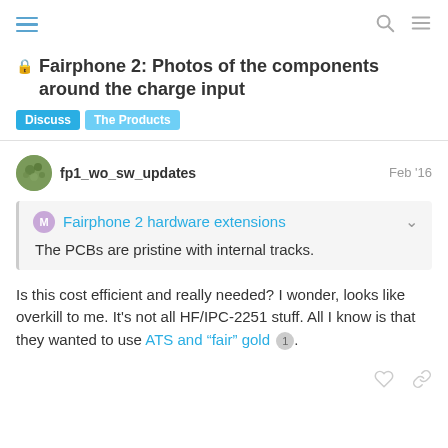Fairphone 2: Photos of the components around the charge input
Discuss | The Products
fp1_wo_sw_updates   Feb '16
Fairphone 2 hardware extensions
The PCBs are pristine with internal tracks.
Is this cost efficient and really needed? I wonder, looks like overkill to me. It's not all HF/IPC-2251 stuff. All I know is that they wanted to use ATS and "fair" gold 1 .